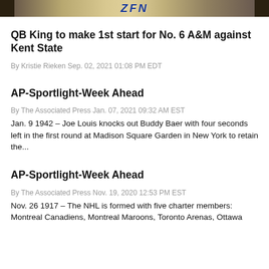[Figure (photo): Partial photo strip showing a person and a logo with letters ZFN or similar, dark background with blue and gold tones]
QB King to make 1st start for No. 6 A&M against Kent State
By Kristie Rieken Sep. 02, 2021 01:08 PM EDT
AP-Sportlight-Week Ahead
By The Associated Press Jan. 07, 2021 09:32 AM EST
Jan. 9 1942 – Joe Louis knocks out Buddy Baer with four seconds left in the first round at Madison Square Garden in New York to retain the...
AP-Sportlight-Week Ahead
By The Associated Press Nov. 19, 2020 12:53 PM EST
Nov. 26 1917 – The NHL is formed with five charter members: Montreal Canadiens, Montreal Maroons, Toronto Arenas, Ottawa